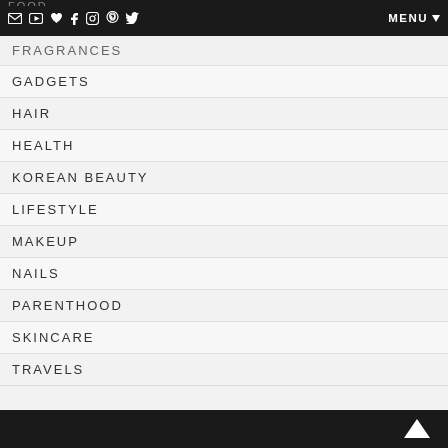FOOD | social icons | MENU
FRAGRANCES
GADGETS
HAIR
HEALTH
KOREAN BEAUTY
LIFESTYLE
MAKEUP
NAILS
PARENTHOOD
SKINCARE
TRAVELS
back to top arrow